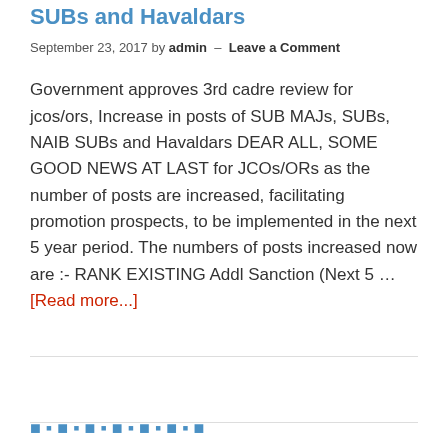SUBs and Havaldars
September 23, 2017 by admin — Leave a Comment
Government approves 3rd cadre review for jcos/ors, Increase in posts of SUB MAJs, SUBs, NAIB SUBs and Havaldars DEAR ALL, SOME GOOD NEWS AT LAST for JCOs/ORs as the number of posts are increased, facilitating promotion prospects, to be implemented in the next 5 year period. The numbers of posts increased now are :- RANK EXISTING Addl Sanction (Next 5 … [Read more...]